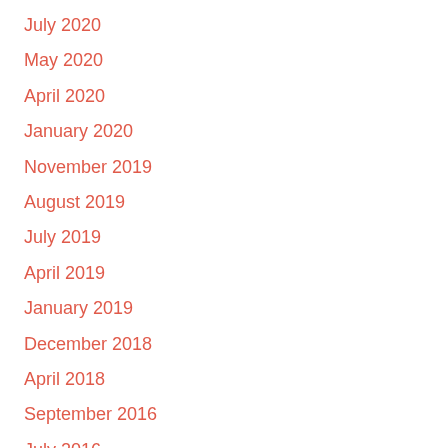July 2020
May 2020
April 2020
January 2020
November 2019
August 2019
July 2019
April 2019
January 2019
December 2018
April 2018
September 2016
July 2016
April 2016